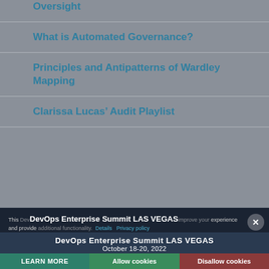Oversight
What is Automated Governance?
Principles and Antipatterns of Wardley Mapping
Clarissa Lucas’ Audit Playlist
This website uses cookies to improve your experience and provide additional functionality. Details Privacy policy
DevOps Enterprise Summit LAS VEGAS
October 18-20, 2022
LEARN MORE
Allow cookies  Disallow cookies